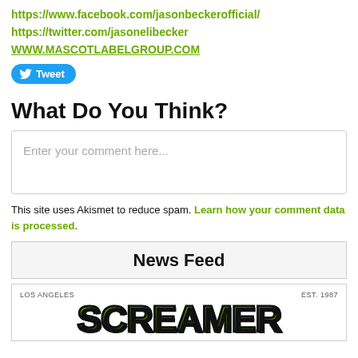https://www.facebook.com/jasonbeckerofficial/
https://twitter.com/jasonelibecker
WWW.MASCOTLABELGROUP.COM
[Figure (other): Twitter Tweet button with bird logo]
What Do You Think?
Enter your comment here...
This site uses Akismet to reduce spam. Learn how your comment data is processed.
News Feed
[Figure (logo): Los Angeles Screamer magazine logo, Est. 1987]